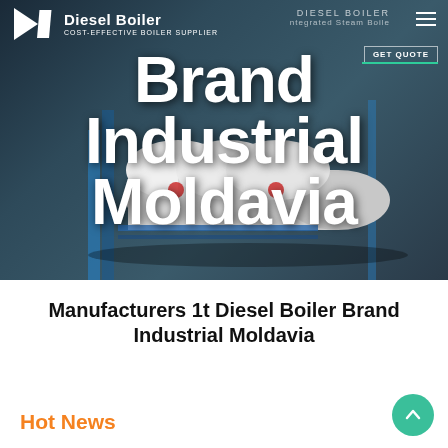[Figure (screenshot): Hero banner showing industrial diesel boilers in a facility with dark overlay. Navigation bar at top with logo, brand name 'Diesel Boiler' and subtitle 'COST-EFFECTIVE BOILER SUPPLIER'. Large white text overlay reads 'Brand Industrial Moldavia'. Right side shows 'GET QUOTE' button and hamburger menu.]
Manufacturers 1t Diesel Boiler Brand Industrial Moldavia
Hot News